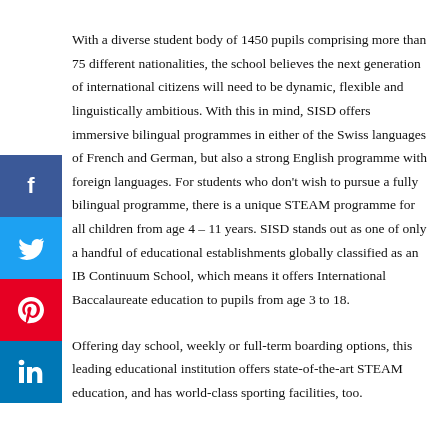[Figure (other): Social media sidebar with Facebook, Twitter, Pinterest, and LinkedIn buttons]
With a diverse student body of 1450 pupils comprising more than 75 different nationalities, the school believes the next generation of international citizens will need to be dynamic, flexible and linguistically ambitious. With this in mind, SISD offers immersive bilingual programmes in either of the Swiss languages of French and German, but also a strong English programme with foreign languages. For students who don't wish to pursue a fully bilingual programme, there is a unique STEAM programme for all children from age 4 – 11 years. SISD stands out as one of only a handful of educational establishments globally classified as an IB Continuum School, which means it offers International Baccalaureate education to pupils from age 3 to 18.
Offering day school, weekly or full-term boarding options, this leading educational institution offers state-of-the-art STEAM education, and has world-class sporting facilities, too.